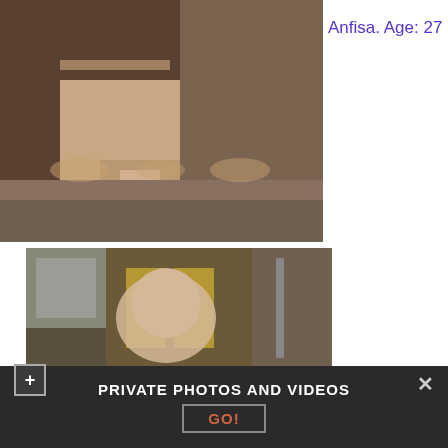[Figure (photo): Photo of legs in white stockings and high heels on a patterned rug near a sofa]
Anfisa. Age: 27
[Figure (photo): Photo of a blonde woman in an interior room with VW letters visible in background]
PRIVATE PHOTOS AND VIDEOS
GO!